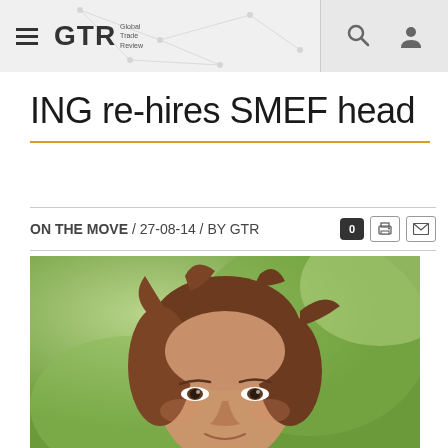GTR Global Trade Review
ING re-hires SMEF head
ON THE MOVE / 27-08-14 / BY GTR
[Figure (photo): Close-up portrait photograph of a woman with brown shoulder-length hair, photographed outdoors with a green blurred background]